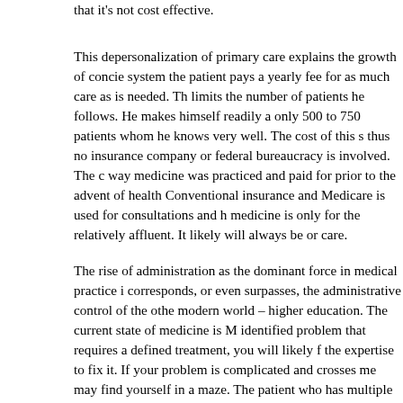that it's not cost effective.
This depersonalization of primary care explains the growth of concie system the patient pays a yearly fee for as much care as is needed. Th limits the number of patients he follows. He makes himself readily a only 500 to 750 patients whom he knows very well. The cost of this s thus no insurance company or federal bureaucracy is involved. The c way medicine was practiced and paid for prior to the advent of health Conventional insurance and Medicare is used for consultations and h medicine is only for the relatively affluent. It likely will always be or care.
The rise of administration as the dominant force in medical practice i corresponds, or even surpasses, the administrative control of the othe modern world – higher education. The current state of medicine is M identified problem that requires a defined treatment, you will likely f the expertise to fix it. If your problem is complicated and crosses me may find yourself in a maze. The patient who has multiple problems, are blurred, likely will bounce from specialist to sub-specialist with u precisely this state of confusion that requires the knowledge and supe primary care physician – one who can integrate all the information fl different consultants and who can steer the patient to a satisfactory o